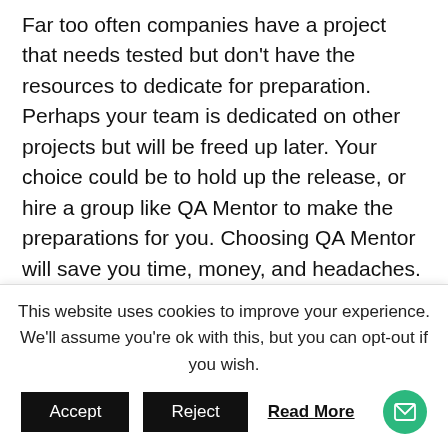Far too often companies have a project that needs tested but don't have the resources to dedicate for preparation. Perhaps your team is dedicated on other projects but will be freed up later. Your choice could be to hold up the release, or hire a group like QA Mentor to make the preparations for you. Choosing QA Mentor will save you time, money, and headaches.

Test Design On Demand means that we have a rotating team of quality assurance professionals who are eager
This website uses cookies to improve your experience. We'll assume you're ok with this, but you can opt-out if you wish.